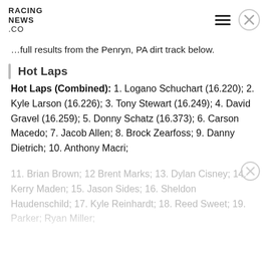RACING NEWS.CO
...full results from the Penryn, PA dirt track below.
Hot Laps
Hot Laps (Combined): 1. Logano Schuchart (16.220); 2. Kyle Larson (16.226); 3. Tony Stewart (16.249); 4. David Gravel (16.259); 5. Donny Schatz (16.373); 6. Carson Macedo; 7. Jacob Allen; 8. Brock Zearfoss; 9. Danny Dietrich; 10. Anthony Macri;
11. Brian Brown; 12 Brent Marks; 13. Dylan Cisney; 14. Kerry Maden; 15. Jason Sides; 16. Sheldon Haudenschild; 17. Kyle Reinhardt; 18. Reed Sweet; 19. Parker; Ryan Miller;